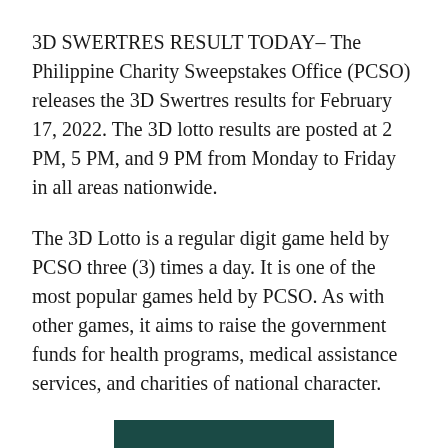3D SWERTRES RESULT TODAY– The Philippine Charity Sweepstakes Office (PCSO) releases the 3D Swertres results for February 17, 2022. The 3D lotto results are posted at 2 PM, 5 PM, and 9 PM from Monday to Friday in all areas nationwide.
The 3D Lotto is a regular digit game held by PCSO three (3) times a day. It is one of the most popular games held by PCSO. As with other games, it aims to raise the government funds for health programs, medical assistance services, and charities of national character.
[Figure (other): Dark teal/green rectangular bar at the bottom center of the page, partially visible]